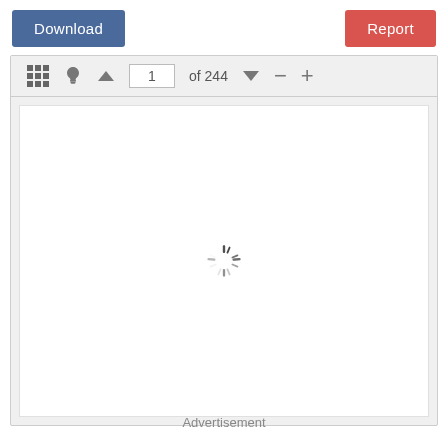[Figure (screenshot): Download button (blue/navy) in top left corner]
[Figure (screenshot): Report button (red) in top right corner]
[Figure (screenshot): Document viewer interface with toolbar showing grid icon, lightbulb icon, up arrow, page input field showing '1', 'of 244' text, down arrow, minus and plus zoom buttons, and a white content area with a loading spinner in the center]
Advertisement